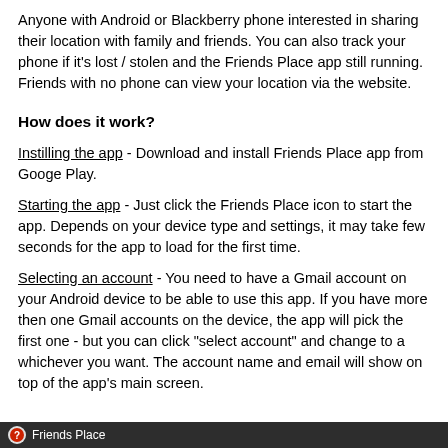Anyone with Android or Blackberry phone interested in sharing their location with family and friends. You can also track your phone if it's lost / stolen and the Friends Place app still running. Friends with no phone can view your location via the website.
How does it work?
Instilling the app - Download and install Friends Place app from Googe Play.
Starting the app - Just click the Friends Place icon to start the app. Depends on your device type and settings, it may take few seconds for the app to load for the first time.
Selecting an account - You need to have a Gmail account on your Android device to be able to use this app. If you have more then one Gmail accounts on the device, the app will pick the first one - but you can click "select account" and change to a whichever you want. The account name and email will show on top of the app's main screen.
Friends Place